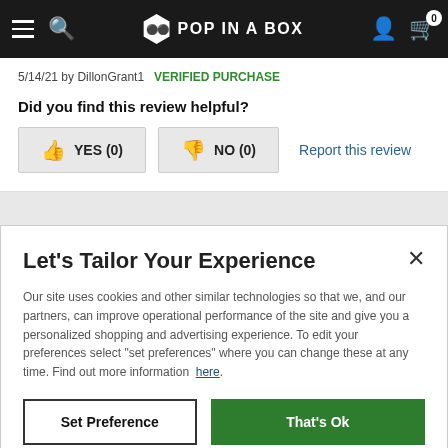POP IN A BOX
5/14/21 by DillonGrant1   VERIFIED PURCHASE
Did you find this review helpful?
YES (0)   NO (0)   Report this review
Let's Tailor Your Experience
Our site uses cookies and other similar technologies so that we, and our partners, can improve operational performance of the site and give you a personalized shopping and advertising experience. To edit your preferences select "set preferences" where you can change these at any time. Find out more information here.
Set Preference   That's Ok